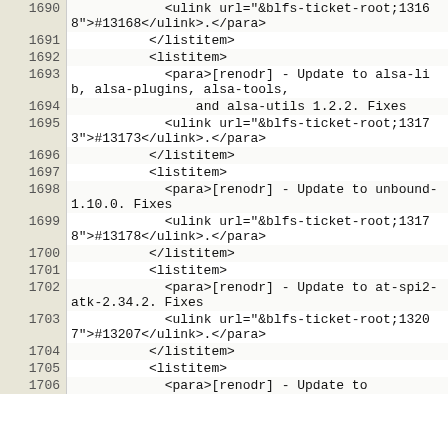Code listing lines 1690-1706 showing XML source for BLFS changelog entries
| line | code |
| --- | --- |
| 1690 |             <ulink url="&blfs-ticket-root;13168">#13168</ulink>.</para> |
| 1691 |           </listitem> |
| 1692 |           <listitem> |
| 1693 |             <para>[renodr] - Update to alsa-lib, alsa-plugins, alsa-tools, |
| 1694 |                 and alsa-utils 1.2.2. Fixes |
| 1695 |             <ulink url="&blfs-ticket-root;13173">#13173</ulink>.</para> |
| 1696 |           </listitem> |
| 1697 |           <listitem> |
| 1698 |             <para>[renodr] - Update to unbound-1.10.0. Fixes |
| 1699 |             <ulink url="&blfs-ticket-root;13178">#13178</ulink>.</para> |
| 1700 |           </listitem> |
| 1701 |           <listitem> |
| 1702 |             <para>[renodr] - Update to at-spi2-atk-2.34.2. Fixes |
| 1703 |             <ulink url="&blfs-ticket-root;13207">#13207</ulink>.</para> |
| 1704 |           </listitem> |
| 1705 |           <listitem> |
| 1706 |             <para>[renodr] - Update to lgnstate-2.46.0. Fixes... |